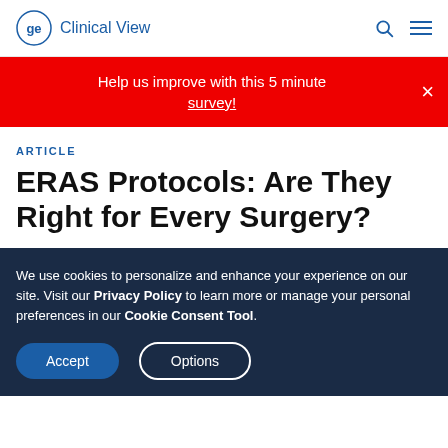GE Clinical View
Help us improve with this 5 minute survey!
ARTICLE
ERAS Protocols: Are They Right for Every Surgery?
We use cookies to personalize and enhance your experience on our site. Visit our Privacy Policy to learn more or manage your personal preferences in our Cookie Consent Tool.
Accept | Options